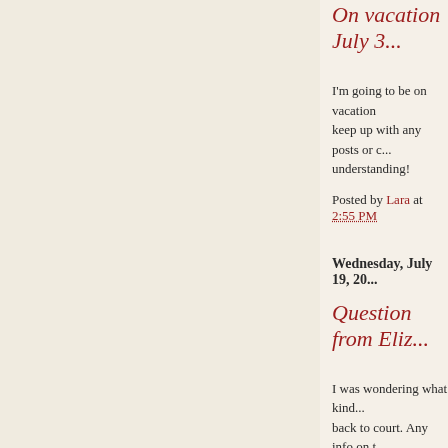On vacation July 3...
I'm going to be on vacation... keep up with any posts or c... understanding!
Posted by Lara at 2:55 PM
Wednesday, July 19, 20...
Question from Eliz...
I was wondering what kind... back to court. Any info on t...
Elizabeth Swanson
16
11 grade
Posted by Lara at 8:49 PM
Saturday, July 15, 2006...